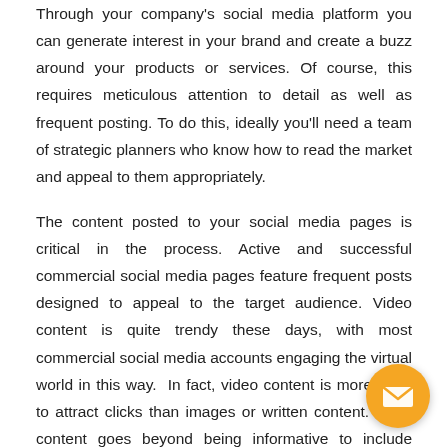Through your company's social media platform you can generate interest in your brand and create a buzz around your products or services. Of course, this requires meticulous attention to detail as well as frequent posting. To do this, ideally you'll need a team of strategic planners who know how to read the market and appeal to them appropriately.
The content posted to your social media pages is critical in the process. Active and successful commercial social media pages feature frequent posts designed to appeal to the target audience. Video content is quite trendy these days, with most commercial social media accounts engaging the virtual world in this way.  In fact, video content is more likely to attract clicks than images or written content. If the content goes beyond being informative to include entertainment ele... then is even more valuable as a PR tool.
[Figure (illustration): Orange circular email/envelope button icon in bottom-right corner]